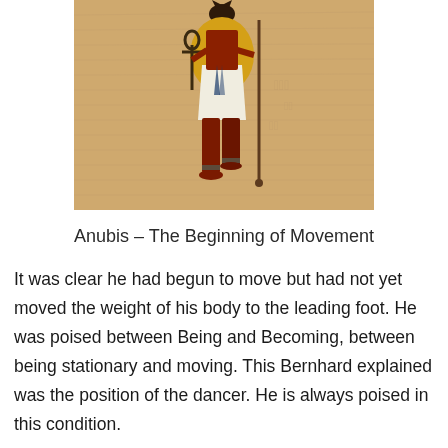[Figure (illustration): Ancient Egyptian papyrus painting of Anubis, the jackal-headed god, shown walking with an ankh in one hand and a staff in the other, wearing a white kilt and red clothing, on a beige papyrus background.]
Anubis – The Beginning of Movement
It was clear he had begun to move but had not yet moved the weight of his body to the leading foot. He was poised between Being and Becoming, between being stationary and moving. This Bernhard explained was the position of the dancer. He is always poised in this condition.
In this way the weight of the body has...